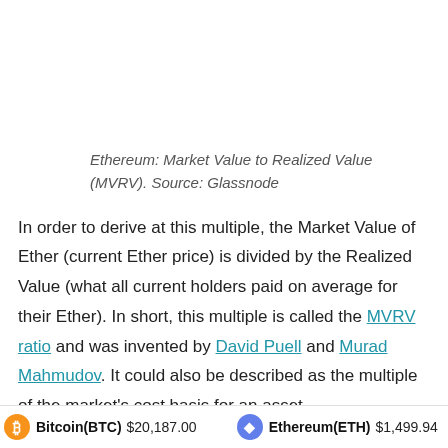Ethereum: Market Value to Realized Value (MVRV). Source: Glassnode
In order to derive at this multiple, the Market Value of Ether (current Ether price) is divided by the Realized Value (what all current holders paid on average for their Ether). In short, this multiple is called the MVRV ratio and was invented by David Puell and Murad Mahmudov. It could also be described as the multiple of the market's cost basis for an asset.
Bitcoin(BTC) $20,187.00   Ethereum(ETH) $1,499.94   XRP